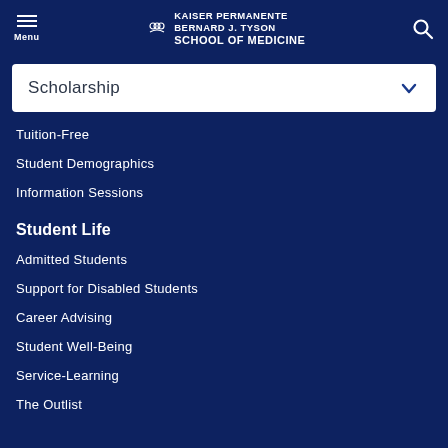Kaiser Permanente Bernard J. Tyson School of Medicine
Scholarship
Tuition-Free
Student Demographics
Information Sessions
Student Life
Admitted Students
Support for Disabled Students
Career Advising
Student Well-Being
Service-Learning
The Outlist